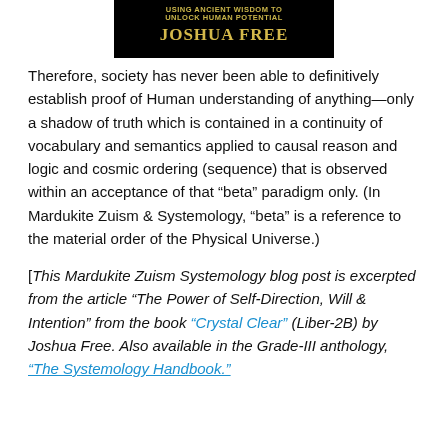[Figure (illustration): Black banner image with text 'USING ANCIENT WISDOM TO UNLOCK HUMAN POTENTIAL' and 'JOSHUA FREE' in gold/yellow letters on black background]
Therefore, society has never been able to definitively establish proof of Human understanding of anything—only a shadow of truth which is contained in a continuity of vocabulary and semantics applied to causal reason and logic and cosmic ordering (sequence) that is observed within an acceptance of that “beta” paradigm only. (In Mardukite Zuism & Systemology, “beta” is a reference to the material order of the Physical Universe.)
[This Mardukite Zuism Systemology blog post is excerpted from the article “The Power of Self-Direction, Will & Intention” from the book “Crystal Clear” (Liber-2B) by Joshua Free. Also available in the Grade-III anthology, “The Systemology Handbook.”